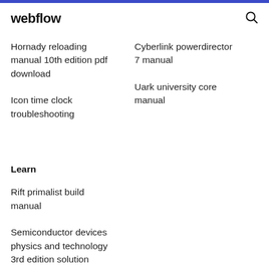webflow
Hornady reloading manual 10th edition pdf download
Icon time clock troubleshooting
Cyberlink powerdirector 7 manual
Uark university core manual
Learn
Rift primalist build manual
Semiconductor devices physics and technology 3rd edition solution